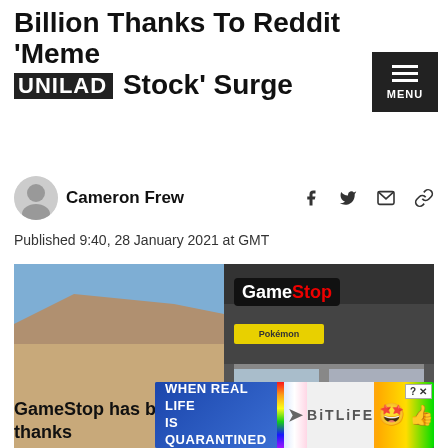Billion Thanks To Reddit 'Meme Stock' Surge
UNILAD
Cameron Frew
Published 9:40, 28 January 2021 at GMT
[Figure (photo): Two GameStop store photos side by side — left shows a close-up of a GameStop sign on a building exterior (brick/beige wall, blue sky), right shows a GameStop storefront with pedestrians walking past]
PA Images
GameStop has been valued at over $24 billion thanks to
[Figure (other): Advertisement overlay: 'WHEN REAL LIFE IS QUARANTINED' rainbow background with BitLife game logo and emoji]